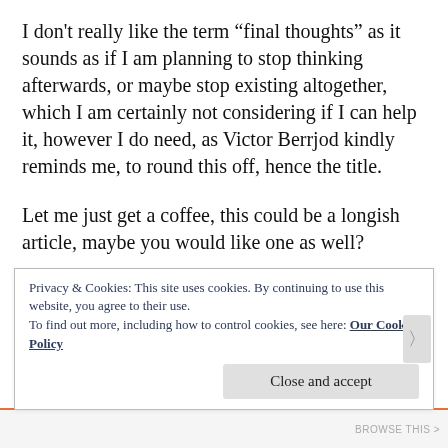I don't really like the term “final thoughts” as it sounds as if I am planning to stop thinking afterwards, or maybe stop existing altogether, which I am certainly not considering if I can help it, however I do need, as Victor Berrjod kindly reminds me, to round this off, hence the title.
Let me just get a coffee, this could be a longish article, maybe you would like one as well?
Right, let’s continue. The story so far is that
Privacy & Cookies: This site uses cookies. By continuing to use this website, you agree to their use.
To find out more, including how to control cookies, see here: Our Cookie Policy